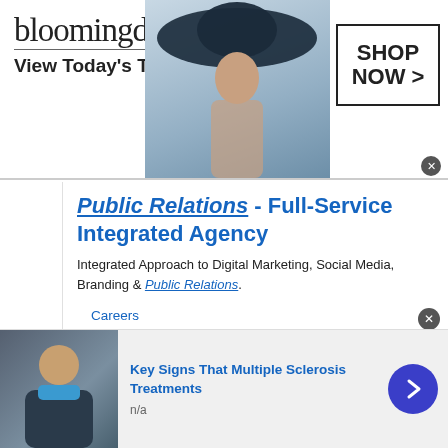[Figure (screenshot): Bloomingdale's advertisement banner with logo, model in wide-brim hat, 'View Today's Top Deals!' tagline, and 'SHOP NOW >' button]
Public Relations - Full-Service Integrated Agency
Integrated Approach to Digital Marketing, Social Media, Branding & Public Relations.
Careers
Minority Certified
New Headquarters
Who We Are
This site uses cookies and other similar technologies to provide site functionality, analyze traffic and usage, and
[Figure (screenshot): Bottom advertisement for 'Key Signs That Multiple Sclerosis Treatments' with image of person, n/a label, and blue arrow button]